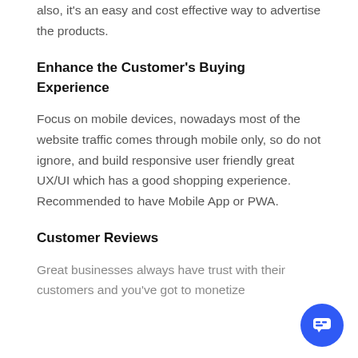also, it's an easy and cost effective way to advertise the products.
Enhance the Customer's Buying Experience
Focus on mobile devices, nowadays most of the website traffic comes through mobile only, so do not ignore, and build responsive user friendly great UX/UI which has a good shopping experience. Recommended to have Mobile App or PWA.
Customer Reviews
Great businesses always have trust with their customers and you've got to monetize